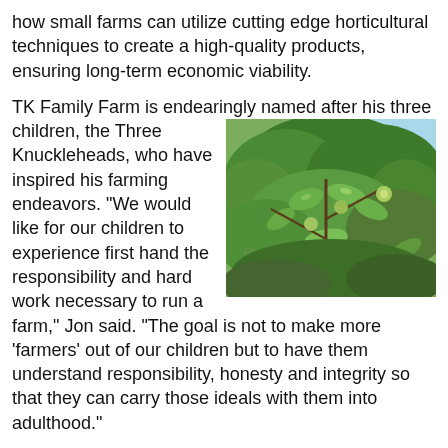how small farms can utilize cutting edge horticultural techniques to create a high-quality products, ensuring long-term economic viability.
TK Family Farm is endearingly named after his three children, the Three Knuckleheads, who have inspired his farming endeavors. “We would like for our children to experience first hand the responsibility and hard work necessary to run a farm,” Jon said. “The goal is not to make more ‘farmers’ out of our children but to have them understand responsibility, honesty and integrity so that they can carry those ideals with them into adulthood.”
[Figure (photo): Photo of green leafy fruit tree branches with small green fruits visible, taken outdoors with blue sky in background.]